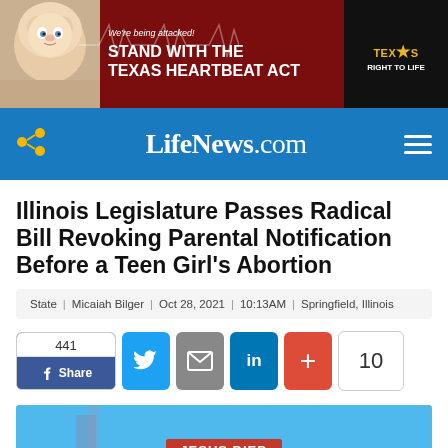[Figure (other): Advertisement banner for Texas Heartbeat Act showing a baby photo on the left, red background with text 'We're being attacked! STAND WITH THE TEXAS HEARTBEAT ACT' and Texas Right to Life logo on the right]
LifeNews.com
Illinois Legislature Passes Radical Bill Revoking Parental Notification Before a Teen Girl's Abortion
State | Micaiah Bilger | Oct 28, 2021 | 10:13AM | Springfield, Illinois
[Figure (infographic): Social share buttons row: Facebook Share (441), Twitter, Email, LinkedIn, plus button, and count of 10]
[Figure (photo): Partial photo showing blue sky and a sign reading JESUS DIED]